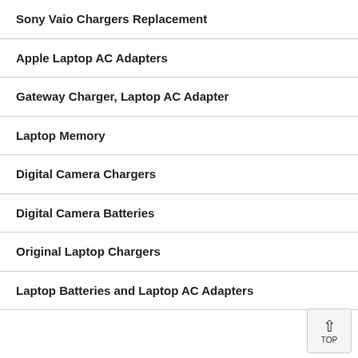Sony Vaio Chargers Replacement
Apple Laptop AC Adapters
Gateway Charger, Laptop AC Adapter
Laptop Memory
Digital Camera Chargers
Digital Camera Batteries
Original Laptop Chargers
Laptop Batteries and Laptop AC Adapters